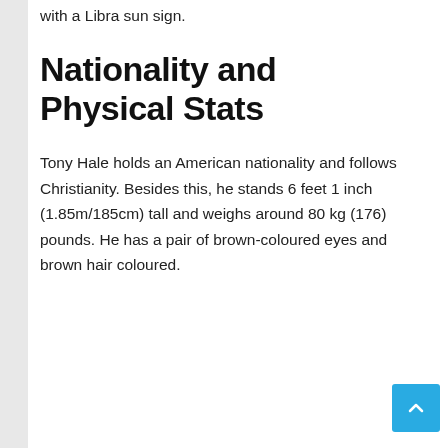with a Libra sun sign.
Nationality and Physical Stats
Tony Hale holds an American nationality and follows Christianity. Besides this, he stands 6 feet 1 inch (1.85m/185cm) tall and weighs around 80 kg (176) pounds. He has a pair of brown-coloured eyes and brown hair coloured.